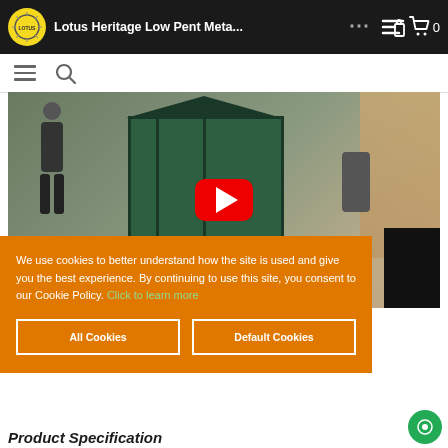Lotus Heritage Low Pent Meta...
[Figure (screenshot): YouTube video thumbnail showing a person assembling or inspecting a green metal shed in a garden, with a red YouTube play button overlay. Video title: Lotus Heritage Low Pent Meta...]
We use cookies to better understand how the site is used and give you the best experience. By continuing to use this site, you consent to our Cookie Policy. Click to learn more
All Cookies
Default Cookies
Product Specification